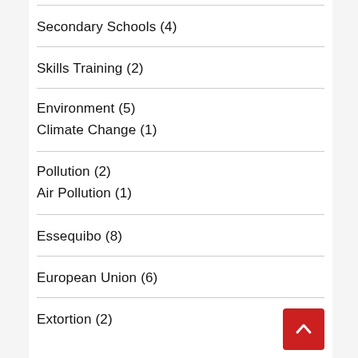Secondary Schools (4)
Skills Training (2)
Environment (5)
Climate Change (1)
Pollution (2)
Air Pollution (1)
Essequibo (8)
European Union (6)
Extortion (2)